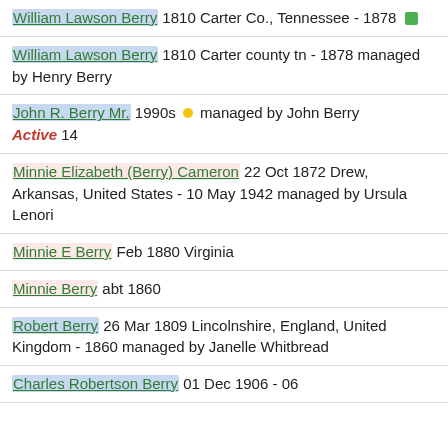William Lawson Berry 1810 Carter Co., Tennessee - 1878
William Lawson Berry 1810 Carter county tn - 1878 managed by Henry Berry
John R. Berry Mr. 1990s managed by John Berry Active 14
Minnie Elizabeth (Berry) Cameron 22 Oct 1872 Drew, Arkansas, United States - 10 May 1942 managed by Ursula Lenori
Minnie E Berry Feb 1880 Virginia
Minnie Berry abt 1860
Robert Berry 26 Mar 1809 Lincolnshire, England, United Kingdom - 1860 managed by Janelle Whitbread
Charles Robertson Berry 01 Dec 1906 - 06